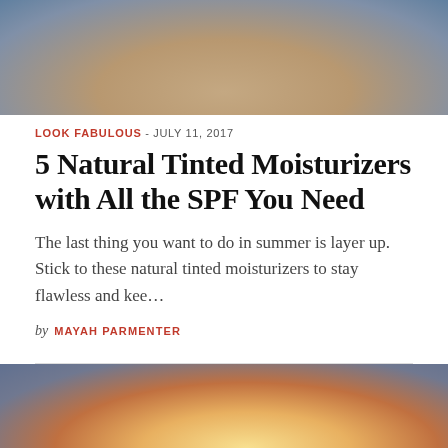[Figure (photo): Woman with windswept blonde hair outdoors near a scenic background, top portion of image cropped]
LOOK FABULOUS – JULY 11, 2017
5 Natural Tinted Moisturizers with All the SPF You Need
The last thing you want to do in summer is layer up. Stick to these natural tinted moisturizers to stay flawless and kee...
by MAYAH PARMENTER
[Figure (photo): Woman with long dark hair blowing in wind, seated outdoors with scenic mountain and sky background, partial image]